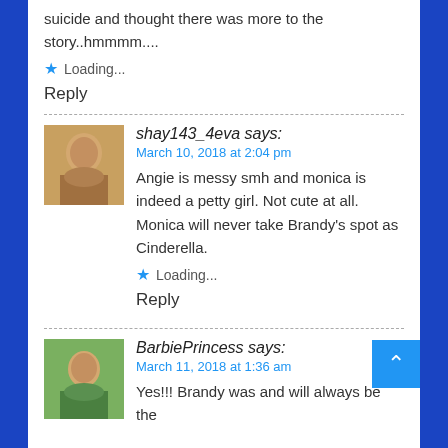suicide and thought there was more to the story..hmmmm....
★ Loading...
Reply
shay143_4eva says:
March 10, 2018 at 2:04 pm
Angie is messy smh and monica is indeed a petty girl. Not cute at all. Monica will never take Brandy's spot as Cinderella.
★ Loading...
Reply
BarbiePrincess says:
March 11, 2018 at 1:36 am
Yes!!! Brandy was and will always be the